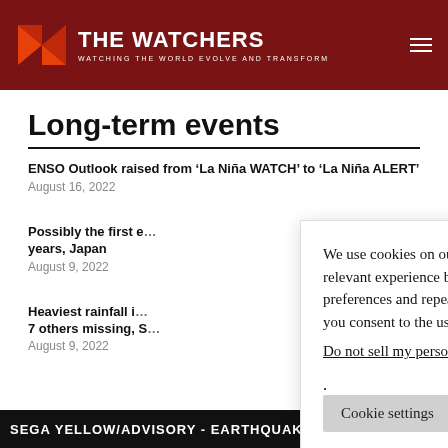THE WATCHERS – WATCHING THE WORLD EVOLVE AND TRANSFORM
Long-term events
ENSO Outlook raised from ‘La Niña WATCH’ to ‘La Niña ALERT’
August 16, 2022
Possibly the first e[...] years, Japan
August 9, 2022
Heaviest rainfall i[...] 7 others missing, S[...]
August 9, 2022
We use cookies on our website to give you the most relevant experience by remembering your preferences and repeat visits. By clicking “Accept”, you consent to the use of ALL the cookies.
Do not sell my personal information.
SEGA YELLOW/ADVISORY – EARTHQUAKE SWARM BENEATH TA